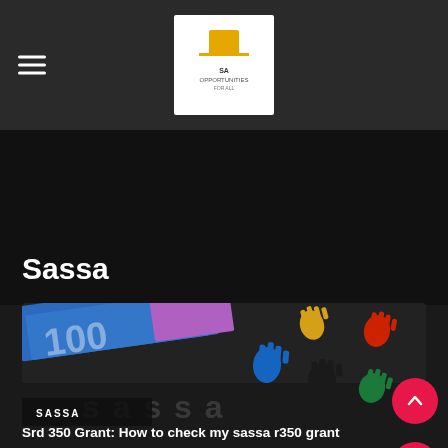Sassa
[Figure (photo): SASSA-branded surface with colorful handprints (blue, yellow, red, green, black) and South African banknotes partially visible, dark background with 'sassa' text embossed]
SASSA
Srd 350 Grant: How to check my sassa r350 grant